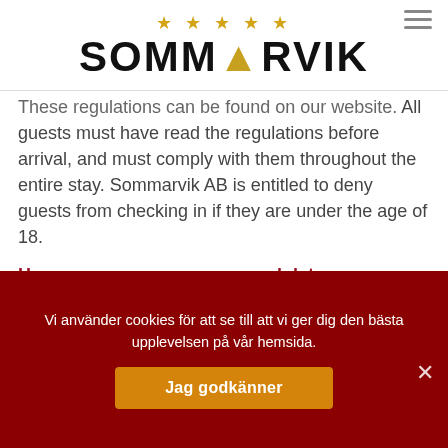[Figure (logo): Sommarvik logo with 5 gold stars above bold text SOMMARVIK, with a gold tent/A symbol in place of the letter A]
These regulations can be found on our website. All guests must have read the regulations before arrival, and must comply with them throughout the entire stay. Sommarvik AB is entitled to deny guests from checking in if they are under the age of 18.
How we manage your personal data
The details you share when making a reservation (contact details, purchase information, correspondence etc.) will be
Vi använder cookies för att se till att vi ger dig den bästa upplevelsen på vår hemsida.